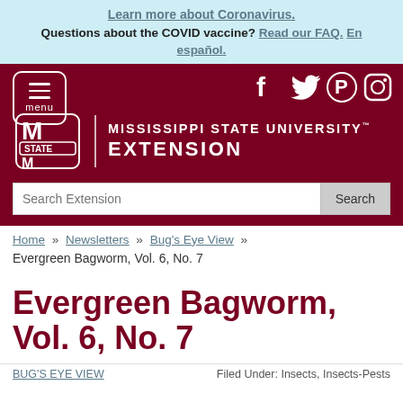Learn more about Coronavirus. Questions about the COVID vaccine? Read our FAQ. En español.
[Figure (screenshot): Mississippi State University Extension maroon header with menu button, social media icons (Facebook, Twitter, Pinterest, Instagram), MSU logo, and search bar]
Home » Newsletters » Bug's Eye View »
Evergreen Bagworm, Vol. 6, No. 7
Evergreen Bagworm, Vol. 6, No. 7
BUG'S EYE VIEW   Filed Under: Insects, Insects-Pests